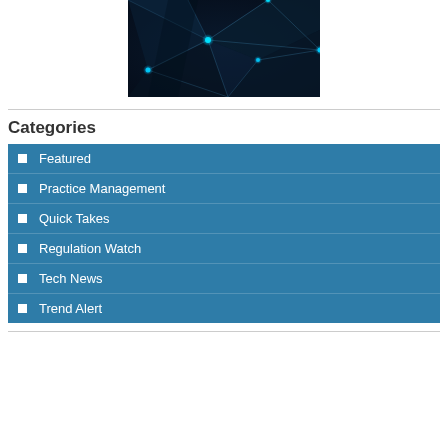[Figure (illustration): Dark network/technology image with glowing blue connected nodes and lines on dark blue background, cropped at top of page]
Categories
Featured
Practice Management
Quick Takes
Regulation Watch
Tech News
Trend Alert